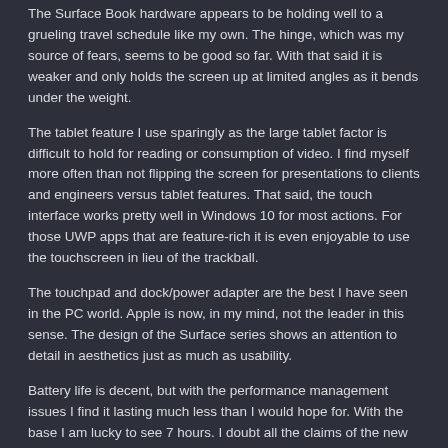The Surface Book hardware appears to be holding well to a grueling travel schedule like my own. The hinge, which was my source of fears, seems to be good so far. With that said it is weaker and only holds the screen up at limited angles as it bends under the weight.
The tablet feature I use sparingly as the large tablet factor is difficult to hold for reading or consumption of video. I find myself more often than not flipping the screen for presentations to clients and engineers versus tablet features. That said, the touch interface works pretty well in Windows 10 for most actions. For those UWP apps that are feature-rich it is even enjoyable to use the touchscreen in lieu of the trackball.
The touchpad and dock/power adapter are the best I have seen in the PC world. Apple is now, in my mind, not the leader in this sense. The design of the Surface series shows an attention to detail in aesthetics just as much as usability.
Battery life is decent, but with the performance management issues I find it lasting much less than I would hope for. With the base I am lucky to see 7 hours. I doubt all the claims of the new Surface Book 2 lasting longer based on my dev/admin heavy workflows.
My Wifes Surface
She is an artist and loves to draw. In my last post on the topic I mentioned she ended up with a Surface also. She regrets it immensely. I warned her against the use of a Surface, but she really wanted to try it and the Surface felt the best in store, though I cautioned that in store and sustained use are very different.